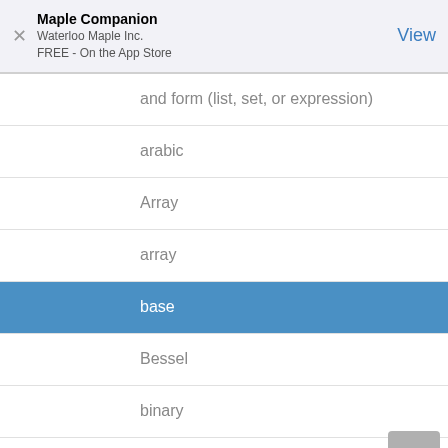[Figure (screenshot): App Store banner for Maple Companion by Waterloo Maple Inc., FREE on the App Store, with a close (X) button on the left and a blue View button on the right.]
and form (list, set, or expression)
arabic
Array
array
base
Bessel
binary
binomial
boolean_function